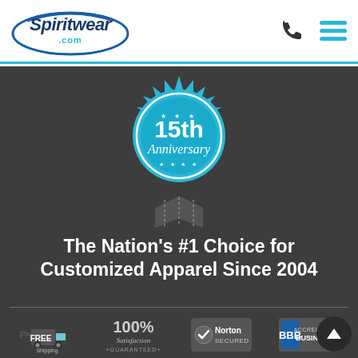[Figure (logo): Spiritwear.com logo in blue and white script font]
[Figure (illustration): Phone icon (black) and hamburger menu icon (teal/cyan) in header]
[Figure (illustration): 15th Anniversary badge - teal/cyan circular badge with star border and ribbon, text '15th Anniversary']
The Nation's #1 Choice for Customized Apparel Since 2004
[Figure (illustration): Free Shipping logo with truck icon]
[Figure (illustration): 100% Satisfaction Guaranteed badge]
[Figure (illustration): Norton Secured badge]
[Figure (illustration): BBB Accredited Business badge]